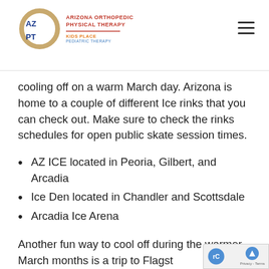Arizona Orthopedic Physical Therapy - Kids Place Pediatric Therapy
cooling off on a warm March day. Arizona is home to a couple of different Ice rinks that you can check out. Make sure to check the rinks schedules for open public skate session times.
AZ ICE located in Peoria, Gilbert, and Arcadia
Ice Den located in Chandler and Scottsdale
Arcadia Ice Arena
Another fun way to cool off during the warmer March months is a trip to Flagst... Arizona's SnowBowl is typically open until the